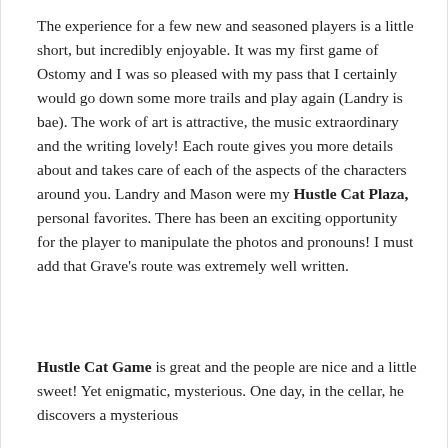The experience for a few new and seasoned players is a little short, but incredibly enjoyable. It was my first game of Ostomy and I was so pleased with my pass that I certainly would go down some more trails and play again (Landry is bae). The work of art is attractive, the music extraordinary and the writing lovely! Each route gives you more details about and takes care of each of the aspects of the characters around you. Landry and Mason were my Hustle Cat Plaza, personal favorites. There has been an exciting opportunity for the player to manipulate the photos and pronouns! I must add that Grave's route was extremely well written.
Hustle Cat Game is great and the people are nice and a little sweet! Yet enigmatic, mysterious. One day, in the cellar, he discovers a mysterious